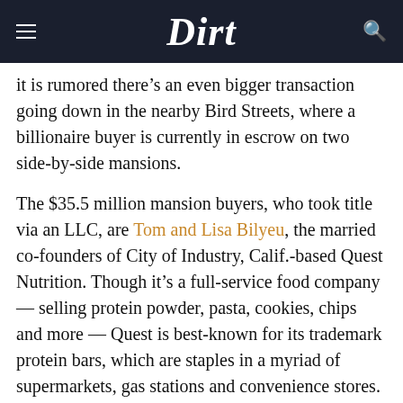Dirt
it is rumored there’s an even bigger transaction going down in the nearby Bird Streets, where a billionaire buyer is currently in escrow on two side-by-side mansions.
The $35.5 million mansion buyers, who took title via an LLC, are Tom and Lisa Bilyeu, the married co-founders of City of Industry, Calif.-based Quest Nutrition. Though it’s a full-service food company — selling protein powder, pasta, cookies, chips and more — Quest is best-known for its trademark protein bars, which are staples in a myriad of supermarkets, gas stations and convenience stores.